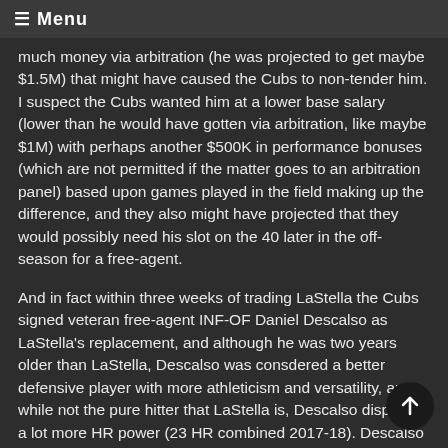≡ Menu
much money via arbitration (he was projected to get maybe $1.5M) that might have caused the Cubs to non-tender him. I suspect the Cubs wanted him at a lower base salary (lower than he would have gotten via arbitration, like maybe $1M) with perhaps another $500K in performance bonuses (which are not permitted if the matter goes to an arbitration panel) based upon games played in the field making up the difference, and they also might have projected that they would possibly need his slot on the 40 later in the off-season for a free-agent.
And in fact within three weeks of trading LaStella the Cubs signed veteran free-agent INF-OF Daniel Descalso as LaStella's replacement, and although he was two years older than LaStella, Descalso was consdered a better defensive player with more athleticism and versatility, and while not the pure hitter that LaStella is, Descalso displayed a lot more HR power (23 HR combined 2017-18). Descalso was also seen as a positive clubhouse presence (he is very good friends with Anthony Rizzo from their days with Team Italy in the WBC), which I'm not sure